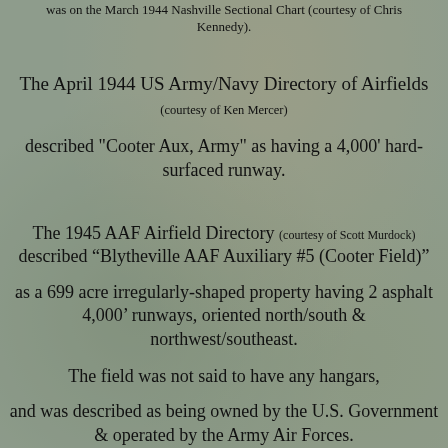was on the March 1944 Nashville Sectional Chart (courtesy of Chris Kennedy).
[Figure (photo): Background photo of abandoned/overgrown aircraft wreckage in vegetation]
The April 1944 US Army/Navy Directory of Airfields (courtesy of Ken Mercer) described "Cooter Aux, Army" as having a 4,000' hard-surfaced runway.
The 1945 AAF Airfield Directory (courtesy of Scott Murdock) described “Blytheville AAF Auxiliary #5 (Cooter Field)”
as a 699 acre irregularly-shaped property having 2 asphalt 4,000' runways, oriented north/south & northwest/southeast.
The field was not said to have any hangars,
and was described as being owned by the U.S. Government & operated by the Army Air Forces.